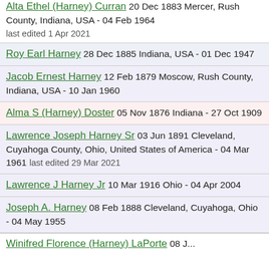Alta Ethel (Harney) Curran 20 Dec 1883 Mercer, Rush County, Indiana, USA - 04 Feb 1964 last edited 1 Apr 2021
Roy Earl Harney 28 Dec 1885 Indiana, USA - 01 Dec 1947
Jacob Ernest Harney 12 Feb 1879 Moscow, Rush County, Indiana, USA - 10 Jan 1960
Alma S (Harney) Doster 05 Nov 1876 Indiana - 27 Oct 1909
Lawrence Joseph Harney Sr 03 Jun 1891 Cleveland, Cuyahoga County, Ohio, United States of America - 04 Mar 1961 last edited 29 Mar 2021
Lawrence J Harney Jr 10 Mar 1916 Ohio - 04 Apr 2004
Joseph A. Harney 08 Feb 1888 Cleveland, Cuyahoga, Ohio - 04 May 1955
Winifred Florence (Harney) LaPorte ...